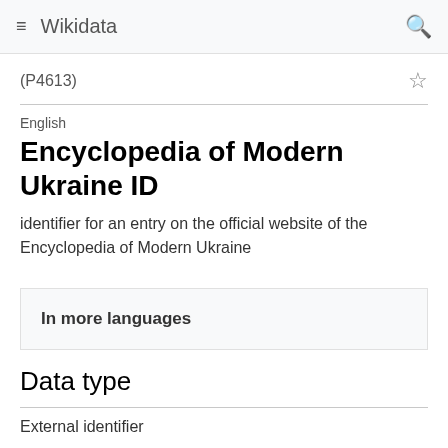Wikidata
(P4613)
English
Encyclopedia of Modern Ukraine ID
identifier for an entry on the official website of the Encyclopedia of Modern Ukraine
In more languages
Data type
External identifier